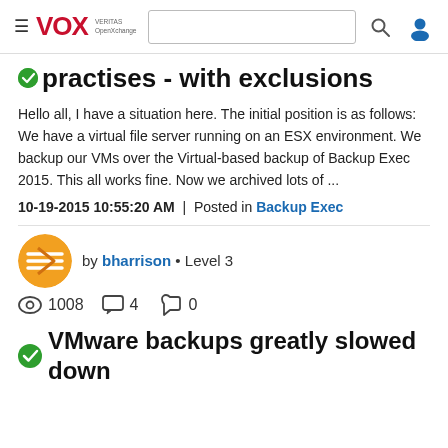VOX VERITAS OpenExchange — navigation header with search and user icon
practises - with exclusions
Hello all, I have a situation here. The initial position is as follows: We have a virtual file server running on an ESX environment. We backup our VMs over the Virtual-based backup of Backup Exec 2015. This all works fine. Now we archived lots of ...
10-19-2015 10:55:20 AM | Posted in Backup Exec
[Figure (illustration): User avatar icon for bharrison, orange circular badge with arrow design]
by bharrison • Level 3
1008 views, 4 comments, 0 likes
VMware backups greatly slowed down